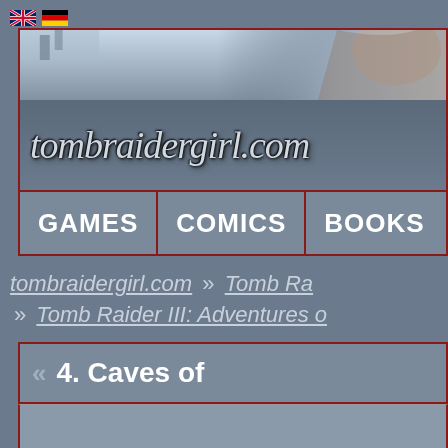[Figure (logo): UK and German flag icons for language selection]
[Figure (photo): Header banner image showing Lara Croft character close-up, partially cropped]
[Figure (logo): tombraidergirl.com website logo in italic script style with metallic/embossed effect on dark blue-grey background]
GAMES  COMICS  BOOKS
tombraidergirl.com » Tomb Ra » Tomb Raider III: Adventures o
4. Caves of